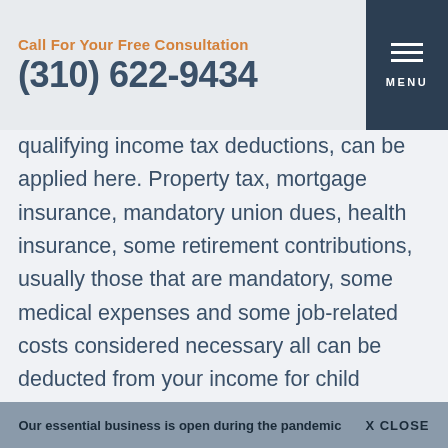Call For Your Free Consultation
(310) 622-9434
qualifying income tax deductions, can be applied here. Property tax, mortgage insurance, mandatory union dues, health insurance, some retirement contributions, usually those that are mandatory, some medical expenses and some job-related costs considered necessary all can be deducted from your income for child support purposes.
Some support paid can also be deducted. Spousal support already being paid pursuant to a court order, child support paid for a child
Our essential business is open during the pandemic   X CLOSE